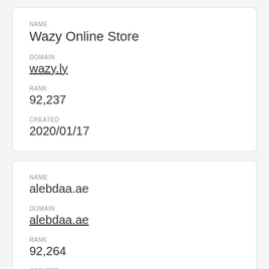NAME
Wazy Online Store
DOMAIN
wazy.ly
RANK
92,237
CREATED
2020/01/17
NAME
alebdaa.ae
DOMAIN
alebdaa.ae
RANK
92,264
CREATED
2020/11/1_